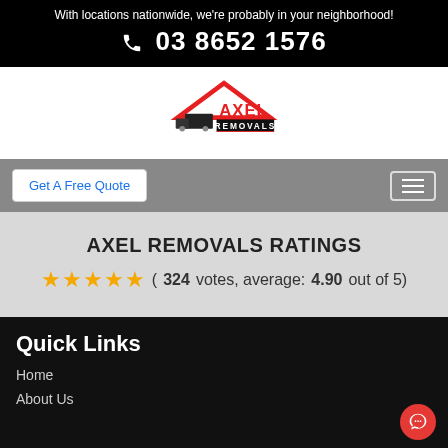With locations nationwide, we're probably in your neighborhood!
03 8652 1576
[Figure (logo): Axel Removals logo with red house roof, truck, and text AXEL REMOVALS]
Get A Free Quote
AXEL REMOVALS RATINGS
(324 votes, average: 4.90 out of 5)
Quick Links
Home
About Us